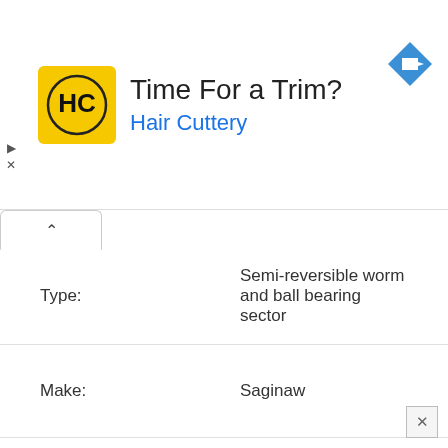[Figure (other): Hair Cuttery advertisement banner with logo, headline 'Time For a Trim?', subtext 'Hair Cuttery', and a blue navigation arrow icon]
| Label | Value |
| --- | --- |
| Type: | Semi-reversible worm and ball bearing sector |
| Make: | Saginaw |
| Ratio: | 16.0:1 |
| Wheel Diameter (in): | 17 |